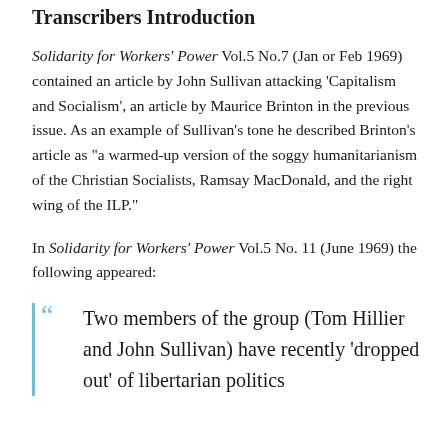Transcribers Introduction
Solidarity for Workers' Power Vol.5 No.7 (Jan or Feb 1969) contained an article by John Sullivan attacking 'Capitalism and Socialism', an article by Maurice Brinton in the previous issue. As an example of Sullivan's tone he described Brinton's article as "a warmed-up version of the soggy humanitarianism of the Christian Socialists, Ramsay MacDonald, and the right wing of the ILP."
In Solidarity for Workers' Power Vol.5 No. 11 (June 1969) the following appeared:
Two members of the group (Tom Hillier and John Sullivan) have recently 'dropped out' of libertarian politics